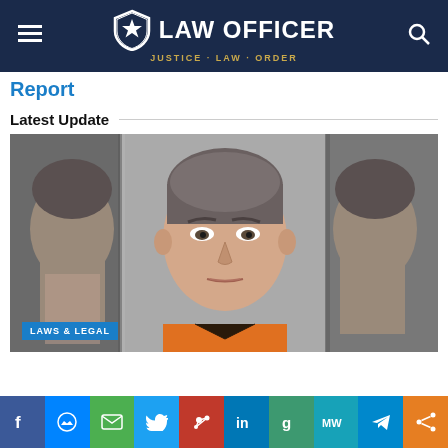LAW OFFICER — JUSTICE · LAW · ORDER
Report
Latest Update
[Figure (photo): Mugshot of a middle-aged white male with gray-brown hair wearing an orange jumpsuit, shown in a triptych-style booking photo (front and side profiles). Label 'LAWS & LEGAL' appears in bottom left corner.]
Social share bar: Facebook, Messenger, Email, Twitter, MeWe, LinkedIn, Goodreads, MilWives, Telegram, Share